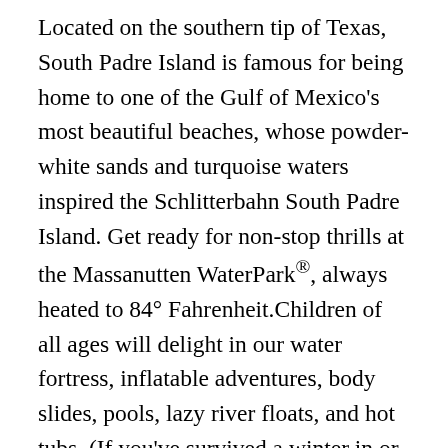Located on the southern tip of Texas, South Padre Island is famous for being home to one of the Gulf of Mexico's most beautiful beaches, whose powder-white sands and turquoise waters inspired the Schlitterbahn South Padre Island. Get ready for non-stop thrills at the Massanutten WaterPark®, always heated to 84° Fahrenheit.Children of all ages will delight in our water fortress, inflatable adventures, body slides, pools, lazy river floats, and hot tubs. (If you've survived a winter in or near Ithaca or Buffalo, you can relate.) Poconos Indoor Waterpark. With wild slides, fun rides, cozy cabanas and more, it's everything you want from a waterpark — with just a bit more shade. Explore other popular activities near you from over a million businesses with over a...